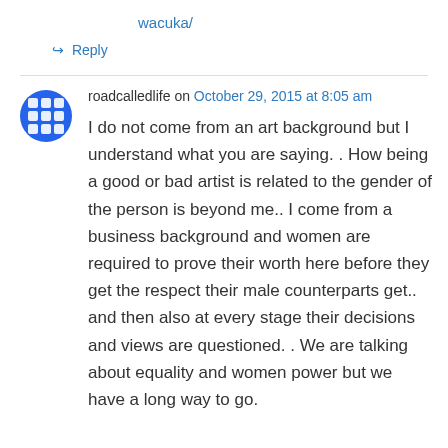wacuka/
↪ Reply
roadcalledlife on October 29, 2015 at 8:05 am
I do not come from an art background but I understand what you are saying. . How being a good or bad artist is related to the gender of the person is beyond me.. I come from a business background and women are required to prove their worth here before they get the respect their male counterparts get.. and then also at every stage their decisions and views are questioned. . We are talking about equality and women power but we have a long way to go.